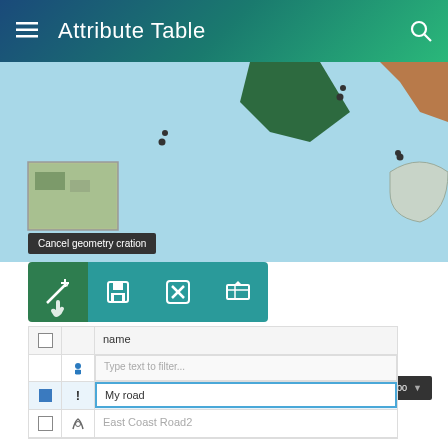[Figure (screenshot): Mobile app screenshot showing Attribute Table screen with a map view, editing toolbar, and attribute data rows including 'My road' and 'East Coast Road2' entries. A tooltip reads 'Cancel geometry cration'. Version badge shows v: v2021.01.00.]
v: v2021.01.00